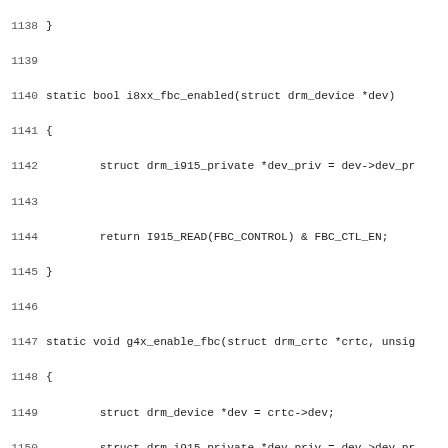C source code lines 1138-1170, showing i8xx_fbc_enabled and g4x_enable_fbc functions